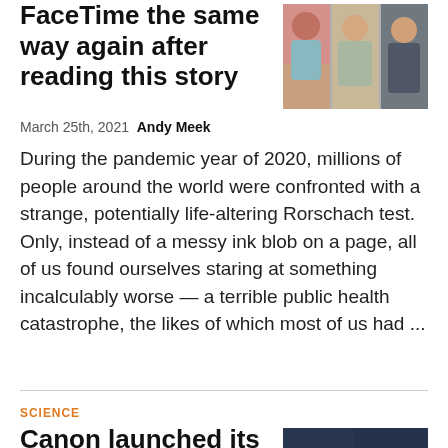FaceTime the same way again after reading this story
[Figure (photo): Three-panel photo collage of women, cropped portrait style]
March 25th, 2021  Andy Meek
During the pandemic year of 2020, millions of people around the world were confronted with a strange, potentially life-altering Rorschach test. Only, instead of a messy ink blob on a page, all of us found ourselves staring at something incalculably worse — a terrible public health catastrophe, the likes of which most of us had ...
SCIENCE
Canon launched its cameras into space, and
[Figure (photo): Satellite aerial image with blue cross/person shape overlay on dark background]